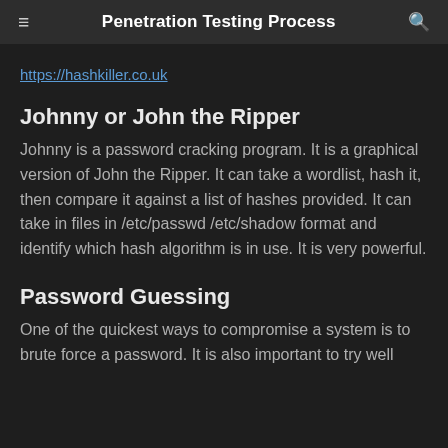Penetration Testing Process
https://hashkiller.co.uk
Johnny or John the Ripper
Johnny is a password cracking program. It is a graphical version of John the Ripper. It can take a wordlist, hash it, then compare it against a list of hashes provided. It can take in files in /etc/passwd /etc/shadow format and identify which hash algorithm is in use. It is very powerful.
Password Guessing
One of the quickest ways to compromise a system is to brute force a password. It is also important to try well